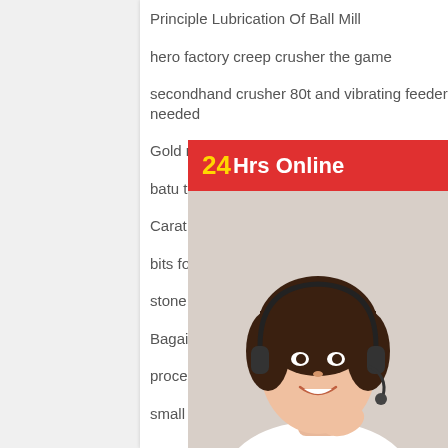Principle Lubrication Of Ball Mill
hero factory creep crusher the game
secondhand crusher 80t and vibrating feeder needed
Gold mining equipment mini crusher
batu tanaman crusher untuk harga jual di inc
Carat Gold Rate In Turkish Cyprus
bits for stone crusher Nigeria
stone crusher types of images
Bagaimana Cara Kerja Jaw Crusher
process and refining gold flow diagram
small stone crusher for sale in indonesia
concrete crusher To Recycle concrete
dolomite crusher sale in kenya
lister potter grinding machinesindian make
[Figure (photo): Customer service representative woman with headset smiling, with '24Hrs Online' red banner at top and 'Need questions & suggestion? Chat Now' gray box at bottom]